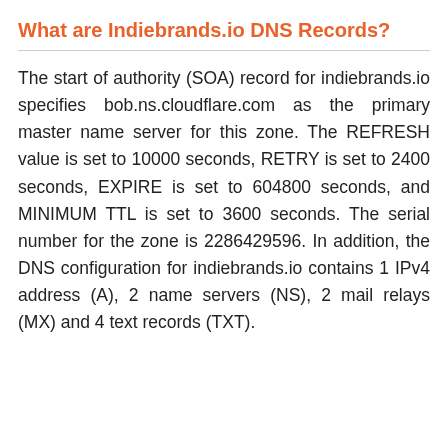What are Indiebrands.io DNS Records?
The start of authority (SOA) record for indiebrands.io specifies bob.ns.cloudflare.com as the primary master name server for this zone. The REFRESH value is set to 10000 seconds, RETRY is set to 2400 seconds, EXPIRE is set to 604800 seconds, and MINIMUM TTL is set to 3600 seconds. The serial number for the zone is 2286429596. In addition, the DNS configuration for indiebrands.io contains 1 IPv4 address (A), 2 name servers (NS), 2 mail relays (MX) and 4 text records (TXT).